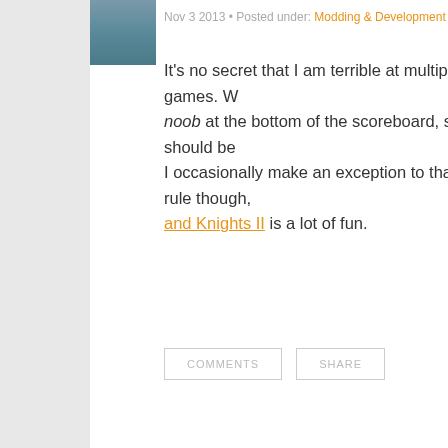Nov 3 2013 • Posted under: Modding & Development
It's no secret that I am terrible at multiplayer games. W... noob at the bottom of the scoreboard, so it should be... I occasionally make an exception to that rule though, ... and Knights II is a lot of fun.
COMMENTS   SHARE
Happy Birthday, Gabe Ne...
Nov 3 2013 • Posted under: News & Rumors
Gabe Logan Newell, the big guy of Valve, turned 51 t...